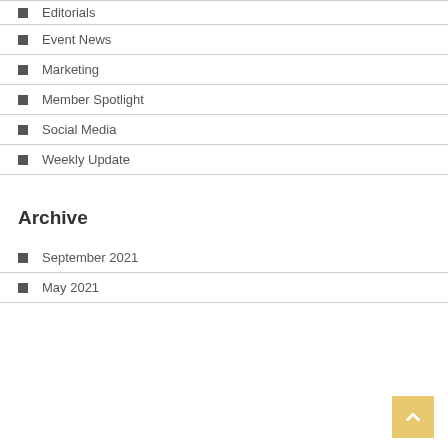Editorials
Event News
Marketing
Member Spotlight
Social Media
Weekly Update
Archive
September 2021
May 2021